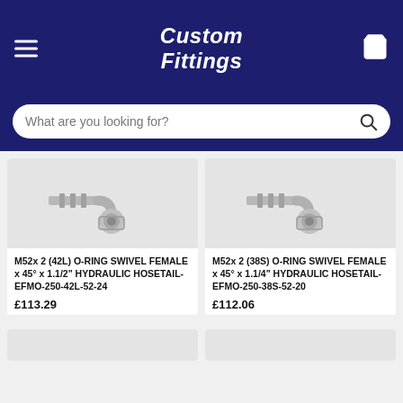Custom Fittings
What are you looking for?
[Figure (photo): M52x2 (42L) O-ring swivel female 45 degree hydraulic hosetail fitting, silver metallic]
M52x 2 (42L) O-RING SWIVEL FEMALE x 45° x 1.1/2" HYDRAULIC HOSETAIL-EFMO-250-42L-52-24
£113.29
[Figure (photo): M52x2 (38S) O-ring swivel female 45 degree hydraulic hosetail fitting, silver metallic]
M52x 2 (38S) O-RING SWIVEL FEMALE x 45° x 1.1/4" HYDRAULIC HOSETAIL-EFMO-250-38S-52-20
£112.06